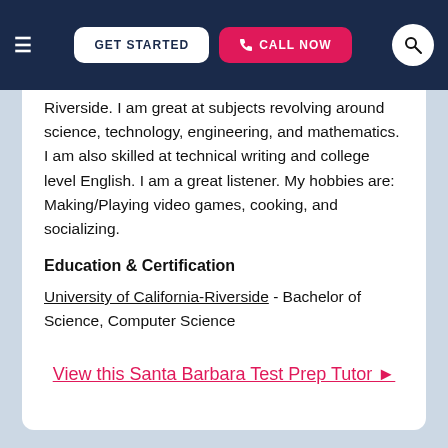≡  GET STARTED  📞 CALL NOW  🔍
Riverside. I am great at subjects revolving around science, technology, engineering, and mathematics. I am also skilled at technical writing and college level English. I am a great listener. My hobbies are: Making/Playing video games, cooking, and socializing.
Education & Certification
University of California-Riverside - Bachelor of Science, Computer Science
View this Santa Barbara Test Prep Tutor ▶